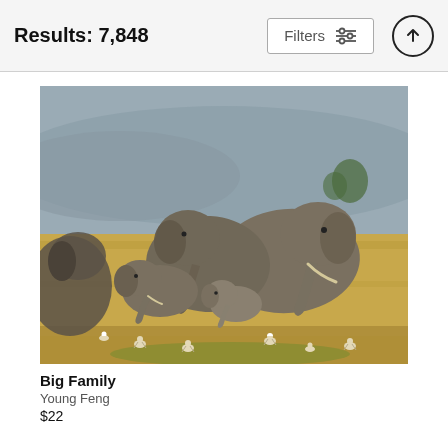Results: 7,848
[Figure (photo): A herd of African elephants including adults and baby calves walking through golden savanna grass with white egret birds in the foreground and misty mountains in the background.]
Big Family
Young Feng
$22